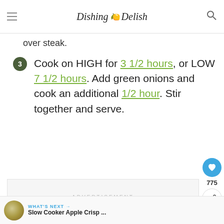Dishing Delish
over steak.
Cook on HIGH for 3 1/2 hours, or LOW 7 1/2 hours. Add green onions and cook an additional 1/2 hour. Stir together and serve.
[Figure (other): Advertisement placeholder box]
775
WHAT'S NEXT → Slow Cooker Apple Crisp ...